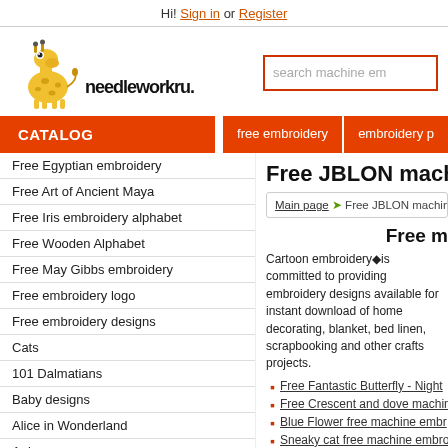Hi! Sign in or Register
[Figure (logo): Needleworkru logo with cartoon giraffe]
search machine em...
CATALOG
free embroidery
embroidery p...
Free Egyptian embroidery
Free Art of Ancient Maya
Free Iris embroidery alphabet
Free Wooden Alphabet
Free May Gibbs embroidery
Free embroidery logo
Free embroidery designs
Cats
101 Dalmatians
Baby designs
Alice in Wonderland
Anime
Aristocats
Asterix and Obelix
Backyardigans
Babynoob
Free JBLON machine...
Main page ➤ Free JBLON machine embroid...
Free m...
Cartoon embroidery◆is committed to providing embroidery designs available for instant download of home decorating, blanket, bed linen, scrapbooking and other crafts projects.
Free Fantastic Butterfly - Night...
Free Crescent and dove machin...
Blue Flower free machine embr...
Sneaky cat free machine embro...